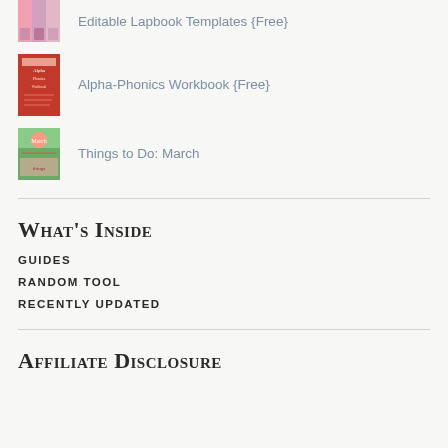Editable Lapbook Templates {Free}
Alpha-Phonics Workbook {Free}
Things to Do: March
What's Inside
GUIDES
RANDOM TOOL
RECENTLY UPDATED
Affiliate Disclosure